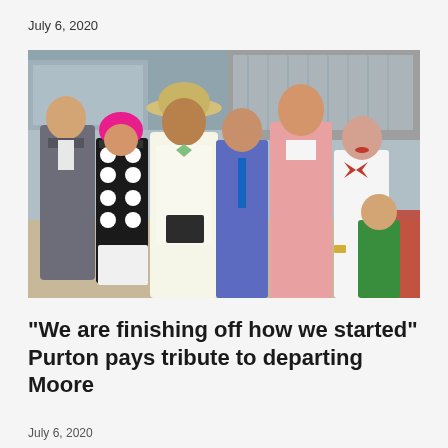July 6, 2020
[Figure (photo): Group photo of seven people posing together at a horse racing venue. From left: a young Asian man in a grey suit, a jockey in black and white polka-dot silks with a pink helmet, an older man in a white suit and straw hat holding a black book, a taller man in a blue tie, a tall Asian man in a pink blazer, a young woman in a white top with a red bow, and a young boy in a green shirt in the foreground right.]
“We are finishing off how we started” Purton pays tribute to departing Moore
July 6, 2020